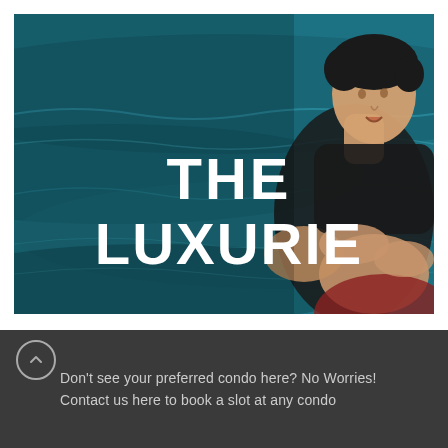[Figure (photo): Person in dark swimwear in a swimming pool with teal water. Overlay text reads 'THE LUXURIE' in large white bold letters.]
Don't see your preferred condo here? No Worries!
Contact us here to book a slot at any condo